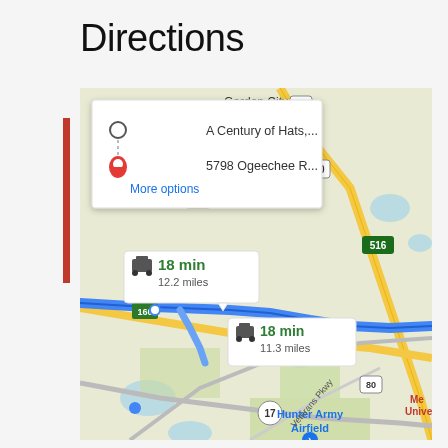Directions
[Figure (map): Google Maps screenshot showing driving directions from A Century of Hats to 5798 Ogeechee R... near Savannah, GA area. Map shows two route options: 18 min / 12.2 miles and 18 min / 11.3 miles. Shows Garden City, Hunter Army Airfield, highways 21, 80, 307, 516, 17, Veterans Pkwy, and Mercer University label.]